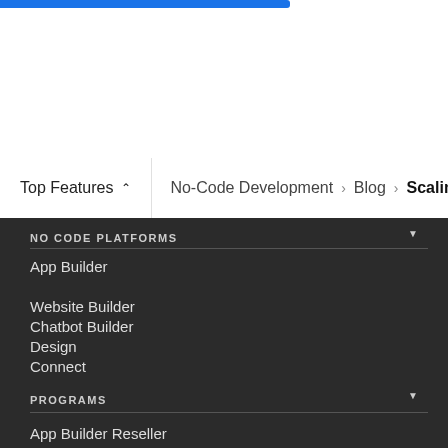Top Features ^ | No-Code Development > Blog > Scaling
NO CODE PLATFORMS
App Builder
Website Builder
Chatbot Builder
Design
Connect
PROGRAMS
App Builder Reseller